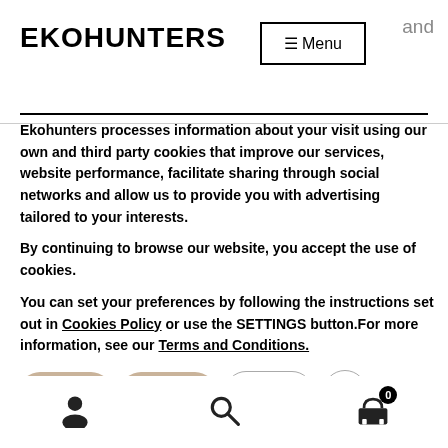EKOHUNTERS
Ekohunters processes information about your visit using our own and third party cookies that improve our services, website performance, facilitate sharing through social networks and allow us to provide you with advertising tailored to your interests.
By continuing to browse our website, you accept the use of cookies.
You can set your preferences by following the instructions set out in Cookies Policy or use the SETTINGS button.For more information, see our Terms and Conditions.